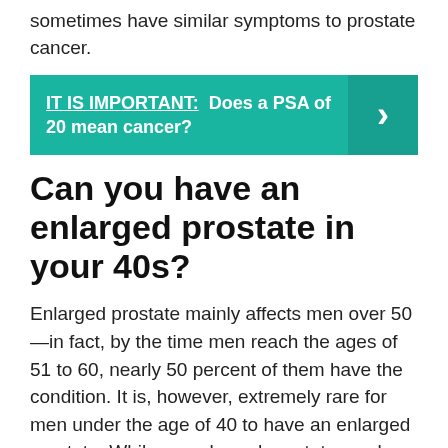sometimes have similar symptoms to prostate cancer.
[Figure (infographic): Teal banner with text: IT IS IMPORTANT: Does a PSA of 20 mean cancer? with a right-arrow chevron on the right side.]
Can you have an enlarged prostate in your 40s?
Enlarged prostate mainly affects men over 50—in fact, by the time men reach the ages of 51 to 60, nearly 50 percent of them have the condition. It is, however, extremely rare for men under the age of 40 to have an enlarged prostate. While an enlarged prostate can be uncomfortable, it's not life threatening.